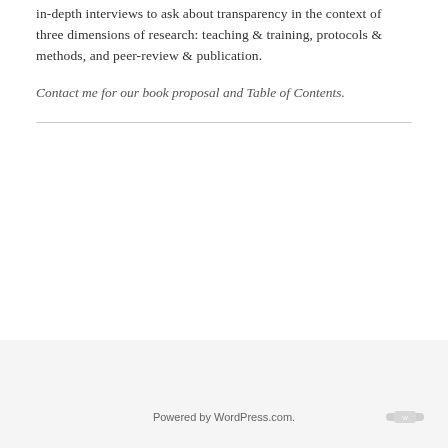in-depth interviews to ask about transparency in the context of three dimensions of research: teaching & training, protocols & methods, and peer-review & publication.
Contact me for our book proposal and Table of Contents.
Powered by WordPress.com.